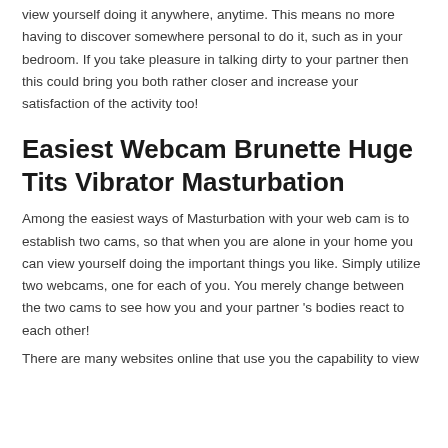view yourself doing it anywhere, anytime. This means no more having to discover somewhere personal to do it, such as in your bedroom. If you take pleasure in talking dirty to your partner then this could bring you both rather closer and increase your satisfaction of the activity too!
Easiest Webcam Brunette Huge Tits Vibrator Masturbation
Among the easiest ways of Masturbation with your web cam is to establish two cams, so that when you are alone in your home you can view yourself doing the important things you like. Simply utilize two webcams, one for each of you. You merely change between the two cams to see how you and your partner 's bodies react to each other!
There are many websites online that use you the capability to view